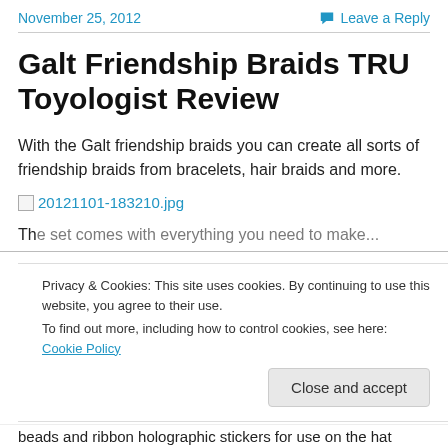November 25, 2012    Leave a Reply
Galt Friendship Braids TRU Toyologist Review
With the Galt friendship braids you can create all sorts of friendship braids from bracelets, hair braids and more.
[Figure (other): Broken image link placeholder for 20121101-183210.jpg]
Privacy & Cookies: This site uses cookies. By continuing to use this website, you agree to their use.
To find out more, including how to control cookies, see here: Cookie Policy
beads and ribbon holographic stickers for use on the hat